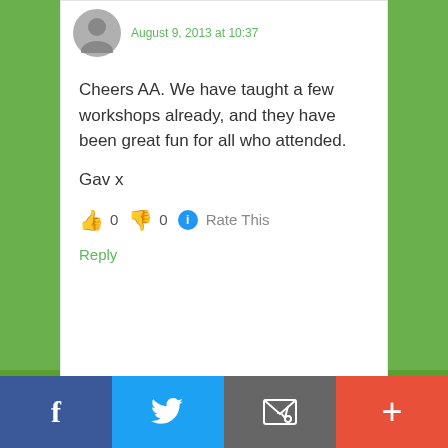August 9, 2013 at 10:37
Cheers AA. We have taught a few workshops already, and they have been great fun for all who attended.

Gav x
👍 0 👎 0 ℹ Rate This
Reply
Tania @ Out Back says
[Figure (other): Social sharing bar with Facebook, Twitter, Email, and plus buttons]